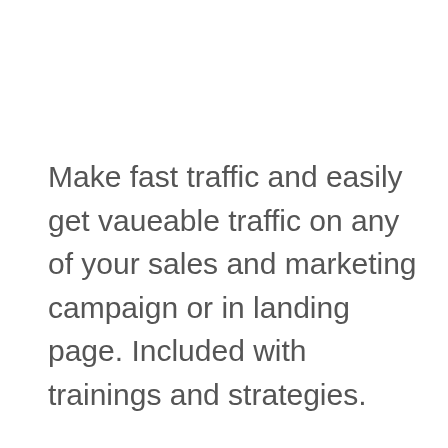Make fast traffic and easily get vaueable traffic on any of your sales and marketing campaign or in landing page. Included with trainings and strategies.